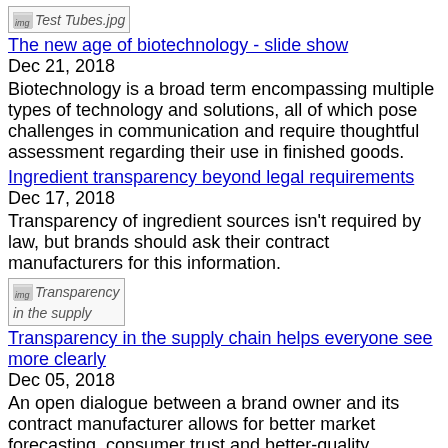[Figure (photo): Thumbnail image labeled Test Tubes.jpg]
The new age of biotechnology - slide show
Dec 21, 2018
Biotechnology is a broad term encompassing multiple types of technology and solutions, all of which pose challenges in communication and require thoughtful assessment regarding their use in finished goods.
Ingredient transparency beyond legal requirements
Dec 17, 2018
Transparency of ingredient sources isn't required by law, but brands should ask their contract manufacturers for this information.
[Figure (photo): Thumbnail image labeled Transparency in the supply...]
Transparency in the supply chain helps everyone see more clearly
Dec 05, 2018
An open dialogue between a brand owner and its contract manufacturer allows for better market forecasting, consumer trust and better-quality products.
[Figure (photo): Thumbnail image labeled Contract labs best practices]
Contract labs best practices